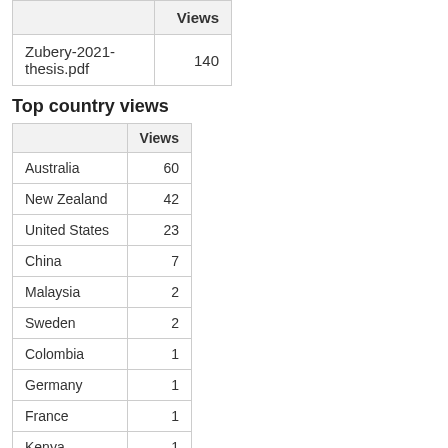|  | Views |
| --- | --- |
| Zubery-2021-thesis.pdf | 140 |
Top country views
|  | Views |
| --- | --- |
| Australia | 60 |
| New Zealand | 42 |
| United States | 23 |
| China | 7 |
| Malaysia | 2 |
| Sweden | 2 |
| Colombia | 1 |
| Germany | 1 |
| France | 1 |
| Kenya | 1 |